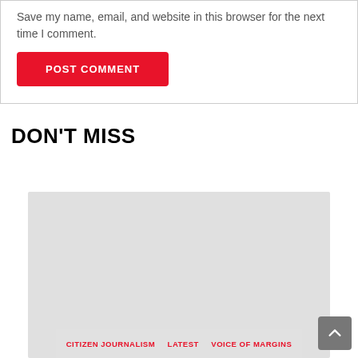Save my name, email, and website in this browser for the next time I comment.
POST COMMENT
DON'T MISS
[Figure (photo): Large gray image placeholder for an article thumbnail]
CITIZEN JOURNALISM    LATEST    VOICE OF MARGINS